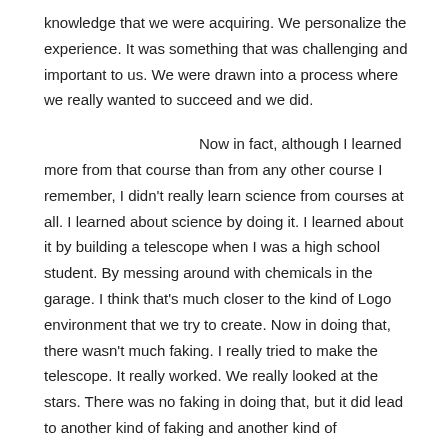knowledge that we were acquiring. We personalize the experience. It was something that was challenging and important to us. We were drawn into a process where we really wanted to succeed and we did.
Now in fact, although I learned more from that course than from any other course I remember, I didn't really learn science from courses at all. I learned about science by doing it. I learned about it by building a telescope when I was a high school student. By messing around with chemicals in the garage. I think that's much closer to the kind of Logo environment that we try to create. Now in doing that, there wasn't much faking. I really tried to make the telescope. It really worked. We really looked at the stars. There was no faking in doing that, but it did lead to another kind of faking and another kind of undermining of trust and honesty in school. In the science class there was a dilemma that I remember very vividly.